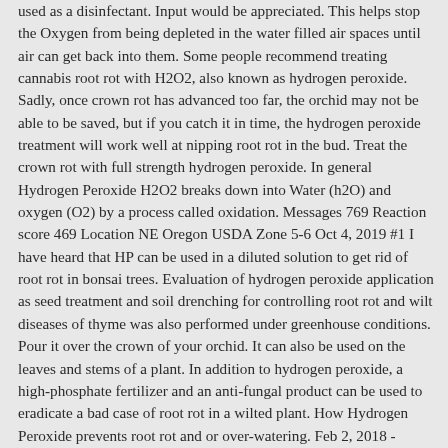used as a disinfectant. Input would be appreciated. This helps stop the Oxygen from being depleted in the water filled air spaces until air can get back into them. Some people recommend treating cannabis root rot with H2O2, also known as hydrogen peroxide. Sadly, once crown rot has advanced too far, the orchid may not be able to be saved, but if you catch it in time, the hydrogen peroxide treatment will work well at nipping root rot in the bud. Treat the crown rot with full strength hydrogen peroxide. In general Hydrogen Peroxide H2O2 breaks down into Water (h2O) and oxygen (O2) by a process called oxidation. Messages 769 Reaction score 469 Location NE Oregon USDA Zone 5-6 Oct 4, 2019 #1 I have heard that HP can be used in a diluted solution to get rid of root rot in bonsai trees. Evaluation of hydrogen peroxide application as seed treatment and soil drenching for controlling root rot and wilt diseases of thyme was also performed under greenhouse conditions. Pour it over the crown of your orchid. It can also be used on the leaves and stems of a plant. In addition to hydrogen peroxide, a high-phosphate fertilizer and an anti-fungal product can be used to eradicate a bad case of root rot in a wilted plant. How Hydrogen Peroxide prevents root rot and or over-watering. Feb 2, 2018 - Hydrogen Peroxide for plants and the garden has numerous uses, as a soil drench, treating root rot, sterilize soil and battle powdery mildew. If it just root rot then you can do the hydrogen peroxide method and